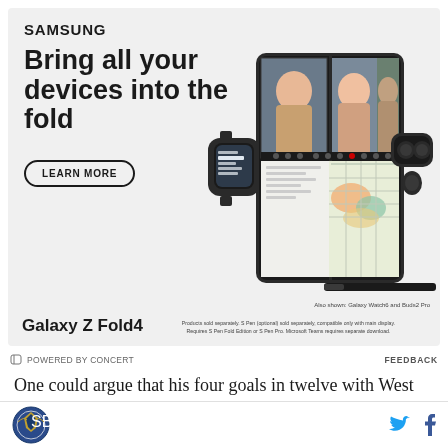[Figure (advertisement): Samsung Galaxy Z Fold4 advertisement. Top left shows SAMSUNG logo in bold. Headline reads 'Bring all your devices into the fold'. A 'LEARN MORE' button with rounded border is shown. Center-right shows the Galaxy Z Fold4 phone opened like a book displaying a video call with three people. Left side shows a Galaxy Watch6 smartwatch. Right side shows Buds2 Pro earbuds in case. Bottom right shows an S Pen stylus. Bottom text shows 'Galaxy Z Fold4' in bold with fine print: 'Also shown: Galaxy Watch6 and Buds2 Pro. Products sold separately. S Pen (optional) sold separately, compatible only with main display. Requires S Pen Fold Edition or S Pen Pro. Microsoft Teams requires separate download.']
G POWERED BY CONCERT   FEEDBACK
One could argue that his four goals in twelve with West Ham means he has taken his game up a level. On the